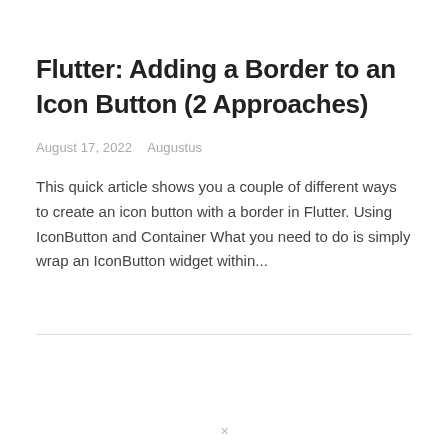Flutter: Adding a Border to an Icon Button (2 Approaches)
August 17, 2022   Augustus
This quick article shows you a couple of different ways to create an icon button with a border in Flutter. Using IconButton and Container What you need to do is simply wrap an IconButton widget within...